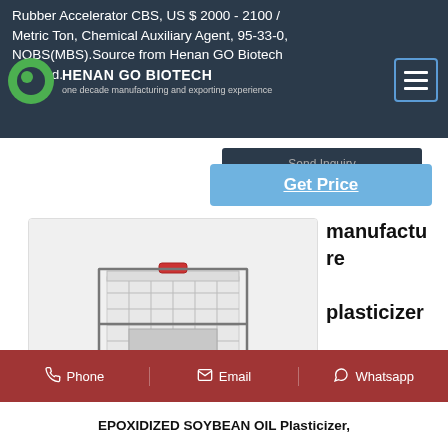Rubber Accelerator CBS, US $ 2000 - 2100 / Metric Ton, Chemical Auxiliary Agent, 95-33-0, NOBS(MBS).Source from Henan GO Biotech Co., Ltd.
[Figure (logo): Henan GO Biotech company logo - green circle with dark inner circle, company name and tagline]
[Figure (other): Navigation menu hamburger icon in blue border]
[Figure (other): Send Inquiry button - dark navy background]
[Figure (other): Get Price button - light blue background with underlined text]
[Figure (photo): IBC tote container / intermediate bulk container - white plastic tank in metal cage on black pallet]
manufacture plasticizer epoxidized soybean
[Figure (other): Footer bar with Phone, Email, Whatsapp contact options on red background]
EPOXIDIZED SOYBEAN OIL Plasticizer,